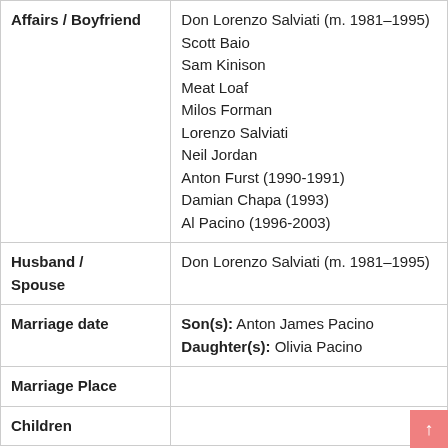| Field | Value |
| --- | --- |
| Affairs / Boyfriend | Don Lorenzo Salviati (m. 1981–1995)
Scott Baio
Sam Kinison
Meat Loaf
Milos Forman
Lorenzo Salviati
Neil Jordan
Anton Furst (1990-1991)
Damian Chapa (1993)
Al Pacino (1996-2003) |
| Husband / Spouse | Don Lorenzo Salviati (m. 1981–1995) |
| Marriage date | Son(s): Anton James Pacino
Daughter(s): Olivia Pacino |
| Marriage Place |  |
| Children |  |